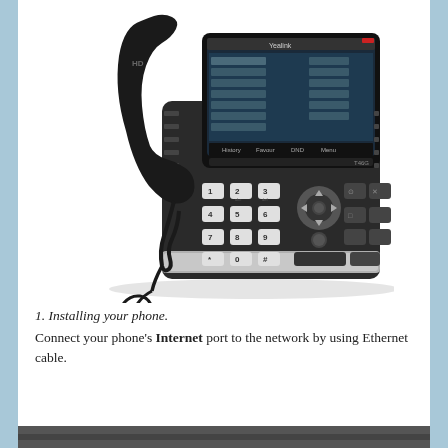[Figure (photo): Yealink T46G IP desk phone with handset, color display showing menu options, full keypad including numeric keys and navigation buttons, photographed at a slight angle against a white background.]
1. Installing your phone.
Connect your phone's Internet port to the network by using Ethernet cable.